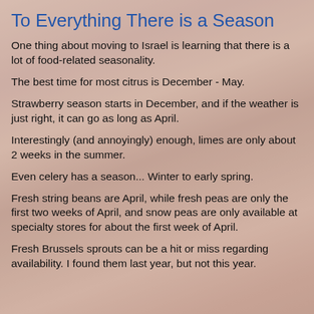To Everything There is a Season
One thing about moving to Israel is learning that there is a lot of food-related seasonality.
The best time for most citrus is December - May.
Strawberry season starts in December, and if the weather is just right, it can go as long as April.
Interestingly (and annoyingly) enough, limes are only about 2 weeks in the summer.
Even celery has a season... Winter to early spring.
Fresh string beans are April, while fresh peas are only the first two weeks of April, and snow peas are only available at specialty stores for about the first week of April.
Fresh Brussels sprouts can be a hit or miss regarding availability. I found them last year, but not this year.